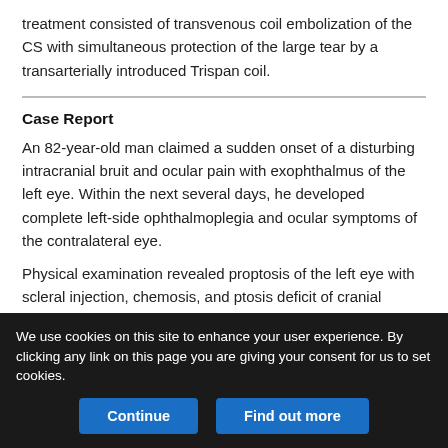treatment consisted of transvenous coil embolization of the CS with simultaneous protection of the large tear by a transarterially introduced Trispan coil.
Case Report
An 82-year-old man claimed a sudden onset of a disturbing intracranial bruit and ocular pain with exophthalmus of the left eye. Within the next several days, he developed complete left-side ophthalmoplegia and ocular symptoms of the contralateral eye.
Physical examination revealed proptosis of the left eye with scleral injection, chemosis, and ptosis deficit of cranial nerves III, IV, VI, and
We use cookies on this site to enhance your user experience. By clicking any link on this page you are giving your consent for us to set cookies.